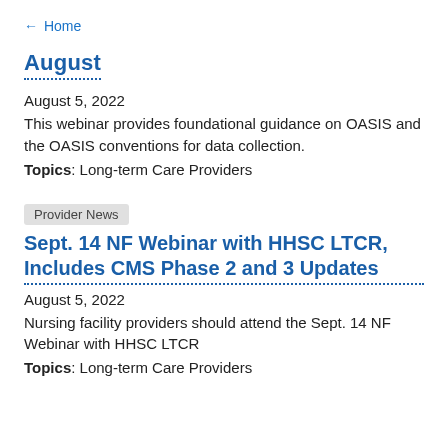← Home
August
August 5, 2022
This webinar provides foundational guidance on OASIS and the OASIS conventions for data collection.
Topics: Long-term Care Providers
Provider News
Sept. 14 NF Webinar with HHSC LTCR, Includes CMS Phase 2 and 3 Updates
August 5, 2022
Nursing facility providers should attend the Sept. 14 NF Webinar with HHSC LTCR
Topics: Long-term Care Providers